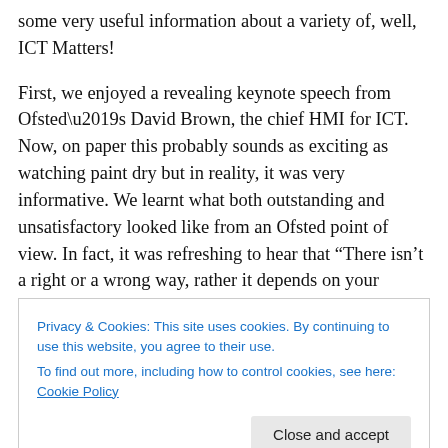some very useful information about a variety of, well, ICT Matters!
First, we enjoyed a revealing keynote speech from Ofsted’s David Brown, the chief HMI for ICT. Now, on paper this probably sounds as exciting as watching paint dry but in reality, it was very informative. We learnt what both outstanding and unsatisfactory looked like from an Ofsted point of view. In fact, it was refreshing to hear that “There isn’t a right or a wrong way, rather it depends on your outcomes”. Too often do we get caught up in debates
Privacy & Cookies: This site uses cookies. By continuing to use this website, you agree to their use. To find out more, including how to control cookies, see here: Cookie Policy
despite having no ICT! In this day and age, I find that